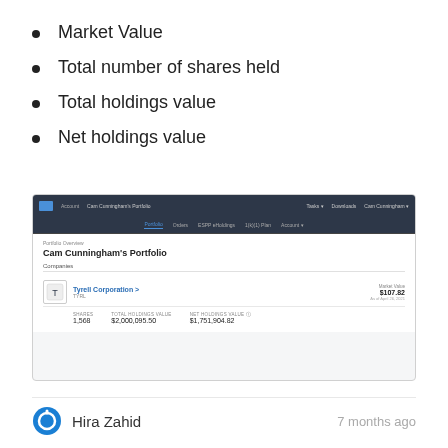Market Value
Total number of shares held
Total holdings value
Net holdings value
[Figure (screenshot): Screenshot of Cam Cunningham's Portfolio page showing Tyrell Corporation holding with shares 1,568, total holdings value $2,000,095.50, net holdings value $1,751,904.82, and market value $107.82 as of April 26, 2021.]
Hira Zahid
7 months ago